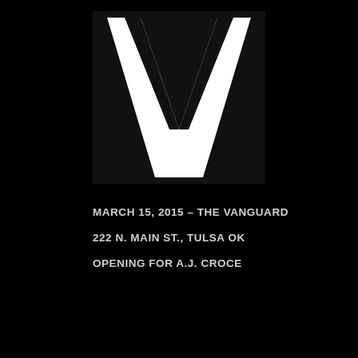[Figure (logo): Large black square with a bold white letter V centered inside it, serving as a venue or band logo.]
MARCH 15, 2015 – THE VANGUARD
222 N. MAIN ST., TULSA OK
OPENING FOR A.J. CROCE